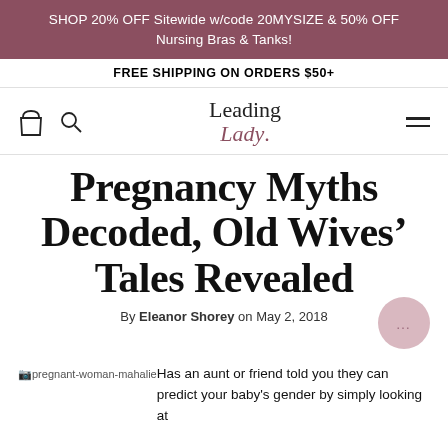SHOP 20% OFF Sitewide w/code 20MYSIZE & 50% OFF Nursing Bras & Tanks!
FREE SHIPPING ON ORDERS $50+
[Figure (logo): Leading Lady logo with shopping bag and search icons and hamburger menu]
Pregnancy Myths Decoded, Old Wives' Tales Revealed
By Eleanor Shorey on May 2, 2018
Has an aunt or friend told you they can predict your baby's gender by simply looking at